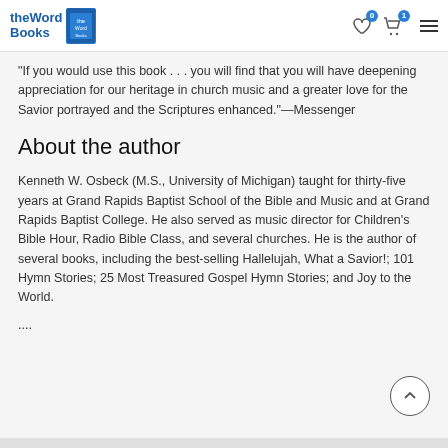theWordBooks
"If you would use this book . . . you will find that you will have deepening appreciation for our heritage in church music and a greater love for the Savior portrayed and the Scriptures enhanced."—Messenger
About the author
Kenneth W. Osbeck (M.S., University of Michigan) taught for thirty-five years at Grand Rapids Baptist School of the Bible and Music and at Grand Rapids Baptist College. He also served as music director for Children's Bible Hour, Radio Bible Class, and several churches. He is the author of several books, including the best-selling Hallelujah, What a Savior!; 101 Hymn Stories; 25 Most Treasured Gospel Hymn Stories; and Joy to the World.
....